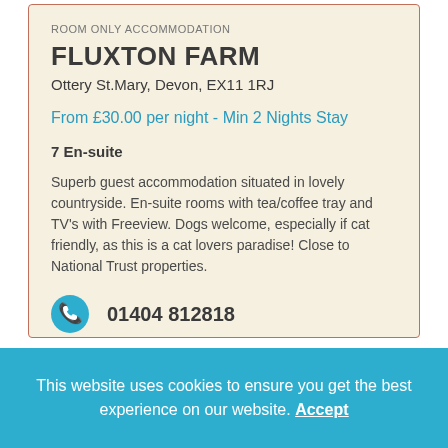ROOM ONLY ACCOMMODATION
FLUXTON FARM
Ottery St.Mary, Devon, EX11 1RJ
From £30.00 per night - Min 2 Nights Stay
7 En-suite
Superb guest accommodation situated in lovely countryside. En-suite rooms with tea/coffee tray and TV's with Freeview. Dogs welcome, especially if cat friendly, as this is a cat lovers paradise! Close to National Trust properties.
01404 812818
This website uses cookies to ensure you get the best experience on our website. Accept